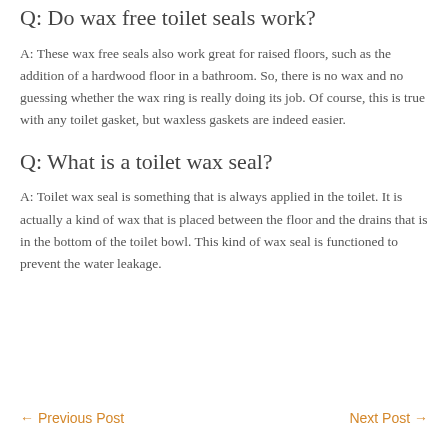Q: Do wax free toilet seals work?
A: These wax free seals also work great for raised floors, such as the addition of a hardwood floor in a bathroom. So, there is no wax and no guessing whether the wax ring is really doing its job. Of course, this is true with any toilet gasket, but waxless gaskets are indeed easier.
Q: What is a toilet wax seal?
A: Toilet wax seal is something that is always applied in the toilet. It is actually a kind of wax that is placed between the floor and the drains that is in the bottom of the toilet bowl. This kind of wax seal is functioned to prevent the water leakage.
← Previous Post    Next Post →